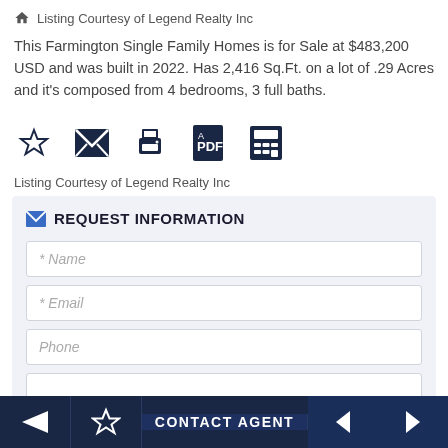Listing Courtesy of Legend Realty Inc
This Farmington Single Family Homes is for Sale at $483,200 USD and was built in 2022. Has 2,416 Sq.Ft. on a lot of .29 Acres and it's composed from 4 bedrooms, 3 full baths.
[Figure (infographic): Row of 5 icon buttons: star (favorite), envelope (email), printer (print), PDF icon, calculator]
Listing Courtesy of Legend Realty Inc
REQUEST INFORMATION
* Name
* Email
Phone
CONTACT AGENT